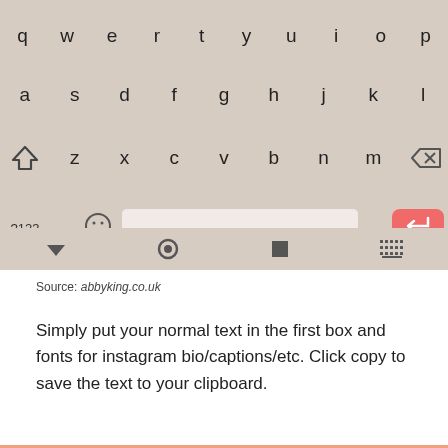[Figure (screenshot): Android mobile keyboard screenshot showing QWERTY layout with beige/tan background, bottom navigation bar with down arrow, home circle, square, and grid icons. Bottom row shows ?123, comma, smiley face, spacebar, period, and red enter key.]
Source: abbyking.co.uk
Simply put your normal text in the first box and fonts for instagram bio/captions/etc. Click copy to save the text to your clipboard.